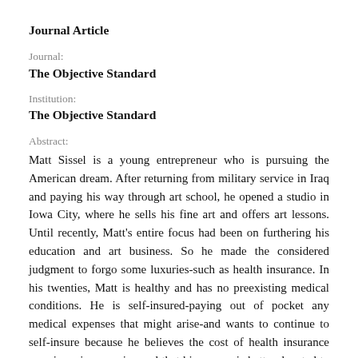Journal Article
Journal:
The Objective Standard
Institution:
The Objective Standard
Abstract:
Matt Sissel is a young entrepreneur who is pursuing the American dream. After returning from military service in Iraq and paying his way through art school, he opened a studio in Iowa City, where he sells his fine art and offers art lessons. Until recently, Matt's entire focus had been on furthering his education and art business. So he made the considered judgment to forgo some luxuries-such as health insurance. In his twenties, Matt is healthy and has no preexisting medical conditions. He is self-insured-paying out of pocket any medical expenses that might arise-and wants to continue to self-insure because he believes the cost of health insurance premiums is excessive and that his money is better devoted to his business.